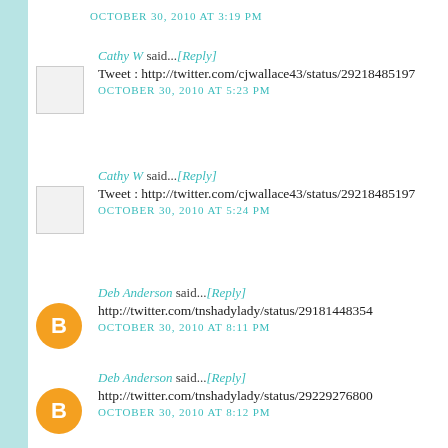OCTOBER 30, 2010 AT 3:19 PM
Cathy W said...[Reply]
Tweet : http://twitter.com/cjwallace43/status/29218485197
OCTOBER 30, 2010 AT 5:23 PM
Cathy W said...[Reply]
Tweet : http://twitter.com/cjwallace43/status/29218485197
OCTOBER 30, 2010 AT 5:24 PM
Deb Anderson said...[Reply]
http://twitter.com/tnshadylady/status/29181448354
OCTOBER 30, 2010 AT 8:11 PM
Deb Anderson said...[Reply]
http://twitter.com/tnshadylady/status/29229276800
OCTOBER 30, 2010 AT 8:12 PM